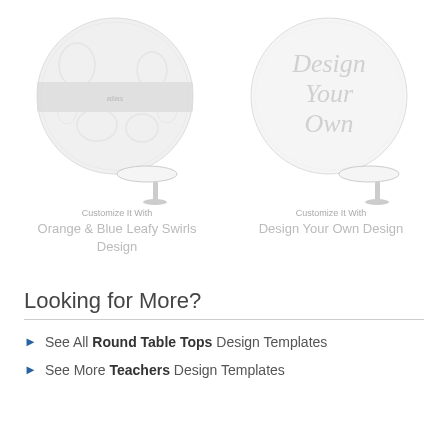[Figure (illustration): Round table top with orange and blue leafy swirls design pattern, shown with a pedestal table beneath]
Customize It With
Orange & Blue Leafy Swirls Design
[Figure (illustration): Round table top with 'Design Your Own' script text, shown with a pedestal table beneath]
Customize It With
Design Your Own Design
Looking for More?
See All Round Table Tops Design Templates
See More Teachers Design Templates